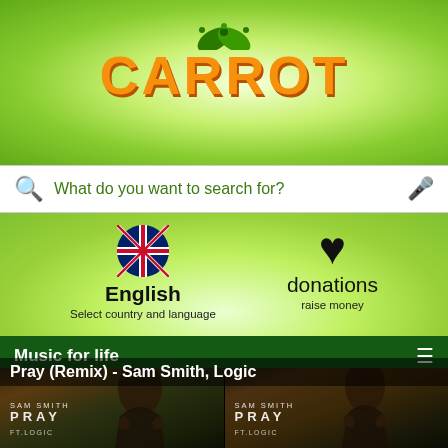[Figure (screenshot): Carrot search engine logo - orange bold text on green gradient background with leaf icon]
What do you want to search for?
English
Select country and language
donations
raise money
Music for life
▶ All  ☆ The most interactive of the month  ☺ Happy  ☹ sad  ☺ Relax
☺ Excited  👤 Artist express  📅 Release year  🎵 Genre
Pray (Remix) - Sam Smith, Logic
[Figure (photo): Two side-by-side video thumbnails of Sam Smith - Pray ft. Logic album art, showing a person praying, dark moody lighting]